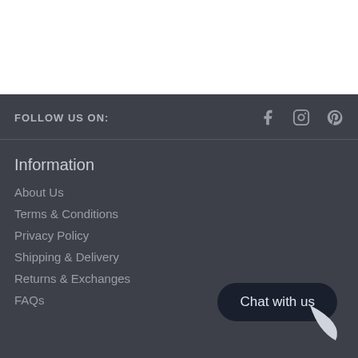FOLLOW US ON:
[Figure (illustration): Social media icons: Facebook, Instagram, Pinterest]
Information
About Us
Terms & Conditions
Privacy Policy
Shipping & Delivery
Returns & Exchanges
FAQs
[Figure (other): Chat with us button widget]